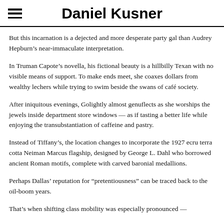Daniel Kusner
But this incarnation is a dejected and more desperate party gal than Audrey Hepburn’s near-immaculate interpretation.
In Truman Capote’s novella, his fictional beauty is a hillbilly Texan with no visible means of support. To make ends meet, she coaxes dollars from wealthy lechers while trying to swim beside the swans of café society.
After iniquitous evenings, Golightly almost genuflects as she worships the jewels inside department store windows — as if tasting a better life while enjoying the transubstantiation of caffeine and pastry.
Instead of Tiffany’s, the location changes to incorporate the 1927 ecru terra cotta Neiman Marcus flagship, designed by George L. Dahl who borrowed ancient Roman motifs, complete with carved baronial medallions.
Perhaps Dallas’ reputation for “pretentiousness” can be traced back to the oil-boom years.
That’s when shifting class mobility was especially pronounced — back to the...